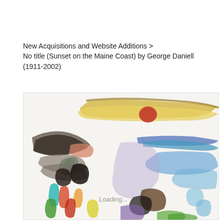New Acquisitions and Website Additions > No title (Sunset on the Maine Coast) by George Daniell (1911-2002)
[Figure (illustration): Abstract watercolor painting showing colorful brushstrokes suggesting a coastal sunset scene. Yellow horizontal band at top with a red circle (sun), blue strokes on the right suggesting water/sky, dark curving strokes on the left, and various colored vertical strokes in the lower portion. Text 'Loading...' appears in the lower center of the image.]